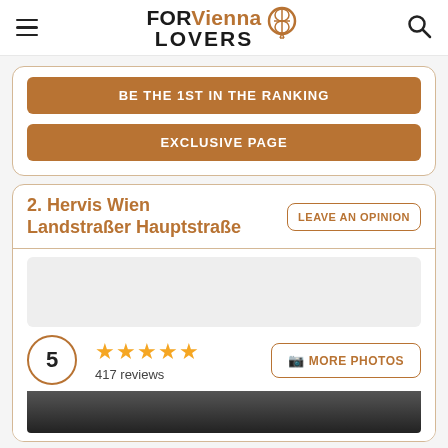FOR Vienna LOVERS
BE THE 1ST IN THE RANKING
EXCLUSIVE PAGE
2. Hervis Wien Landstraßer Hauptstraße
LEAVE AN OPINION
5  ★★★★★  417 reviews
MORE PHOTOS